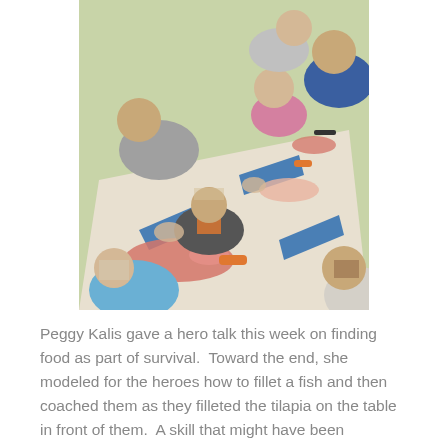[Figure (photo): A group of children and adults gathered around a table outdoors, filleting fish. The table is covered with white paper and has blue tape. Several whole fish are visible on the table along with knives. Children of various ages are leaning over the table, with adults guiding them.]
Peggy Kalis gave a hero talk this week on finding food as part of survival.  Toward the end, she modeled for the heroes how to fillet a fish and then coached them as they filleted the tilapia on the table in front of them.  A skill that might have been